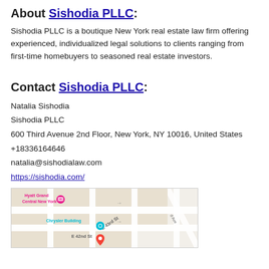About Sishodia PLLC:
Sishodia PLLC is a boutique New York real estate law firm offering experienced, individualized legal solutions to clients ranging from first-time homebuyers to seasoned real estate investors.
Contact Sishodia PLLC:
Natalia Sishodia
Sishodia PLLC
600 Third Avenue 2nd Floor, New York, NY 10016, United States
+18336164646
natalia@sishodialaw.com
https://sishodia.com/
[Figure (map): Google map showing area around 600 Third Avenue, New York, NY 10016, with labels for Hyatt Grand Central New York, Chrysler Building, E 43rd St, E 42nd St, and a location pin.]